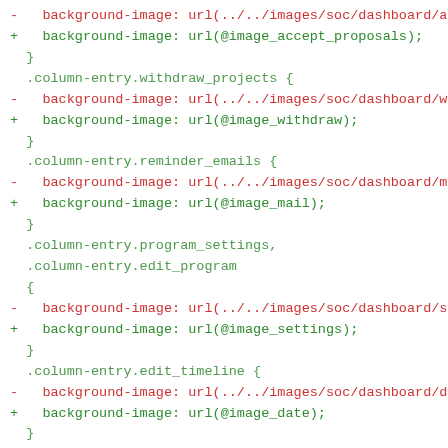Code diff showing CSS background-image replacements for column-entry selectors: accept_proposals, withdraw_projects, reminder_emails, program_settings/edit_program, edit_timeline.